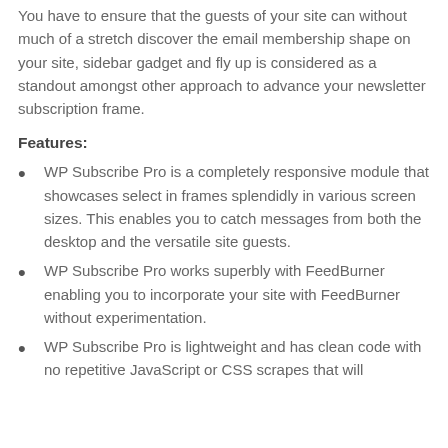You have to ensure that the guests of your site can without much of a stretch discover the email membership shape on your site, sidebar gadget and fly up is considered as a standout amongst other approach to advance your newsletter subscription frame.
Features:
WP Subscribe Pro is a completely responsive module that showcases select in frames splendidly in various screen sizes. This enables you to catch messages from both the desktop and the versatile site guests.
WP Subscribe Pro works superbly with FeedBurner enabling you to incorporate your site with FeedBurner without experimentation.
WP Subscribe Pro is lightweight and has clean code with no repetitive JavaScript or CSS scrapes that will